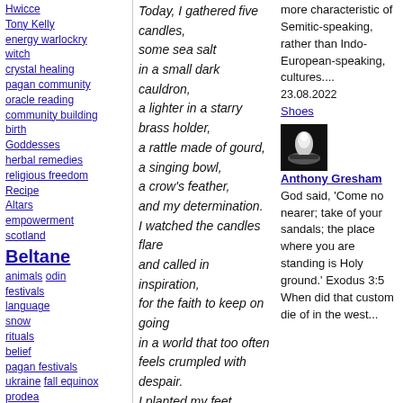Hwicce Tony Kelly energy warlockry witch crystal healing pagan community oracle reading community building birth Goddesses herbal remedies religious freedom Recipe Altars empowerment scotland Beltane animals odin festivals language snow rituals belief pagan festivals ukraine fall equinox prodea friendship Standing
Today, I gathered five candles, some sea salt in a small dark cauldron, a lighter in a starry brass holder, a rattle made of gourd, a singing bowl, a crow's feather, and my determination. I watched the candles flare and called in inspiration, for the faith to keep on going in a world that too often feels crumpled with despair. I planted my feet, reached out my hands, and lifted my voice, believing with everything I have left that no matter how many stories have been told to us about brokenness, we're here anyway still whole.
more characteristic of Semitic-speaking, rather than Indo-European-speaking, cultures.... 23.08.2022
Shoes
[Figure (photo): Small black and white thumbnail photo, likely showing shoes or footwear]
Anthony Gresham God said, 'Come no nearer; take of your sandals; the place where you are standing is Holy ground.' Exodus 3:5 When did that custom die of in the west...